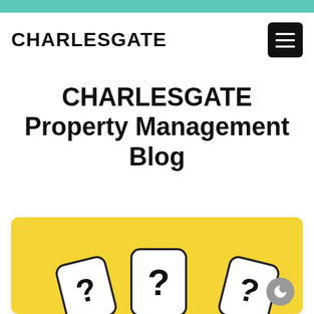CHARLESGATE
CHARLESGATE Property Management Blog
[Figure (photo): Yellow background with white rounded cards showing question marks arranged in a fan layout]